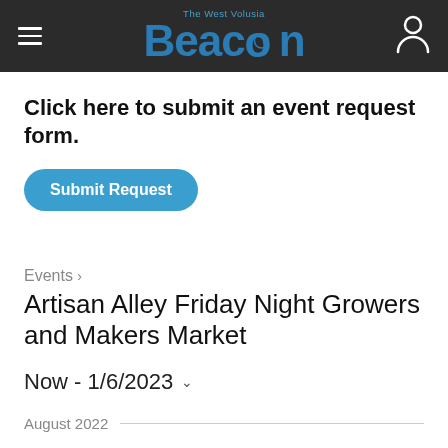The West Volusia Beacon
Click here to submit an event request form.
Submit Request
Events › Artisan Alley Friday Night Growers and Makers Market
Now - 1/6/2023
August 2022